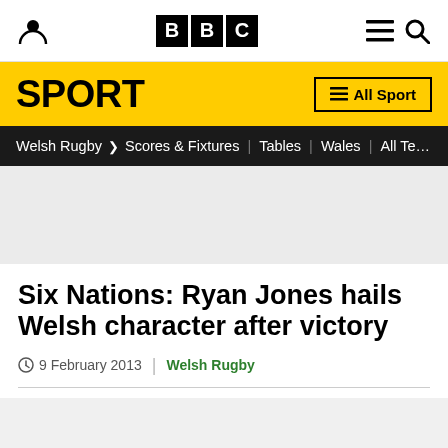BBC Sport
SPORT | All Sport
Welsh Rugby > Scores & Fixtures | Tables | Wales | All Teams
Six Nations: Ryan Jones hails Welsh character after victory
9 February 2013 | Welsh Rugby